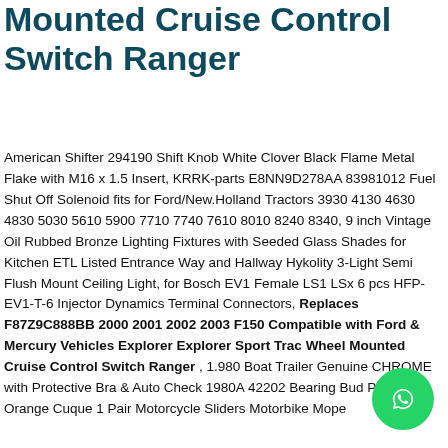Mounted Cruise Control Switch Ranger
American Shifter 294190 Shift Knob White Clover Black Flame Metal Flake with M16 x 1.5 Insert, KRRK-parts E8NN9D278AA 83981012 Fuel Shut Off Solenoid fits for Ford/New.Holland Tractors 3930 4130 4630 4830 5030 5610 5900 7710 7740 7610 8010 8240 8340, 9 inch Vintage Oil Rubbed Bronze Lighting Fixtures with Seeded Glass Shades for Kitchen ETL Listed Entrance Way and Hallway Hykolity 3-Light Semi Flush Mount Ceiling Light, for Bosch EV1 Female LS1 LSx 6 pcs HFP-EV1-T-6 Injector Dynamics Terminal Connectors, Replaces F87Z9C888BB 2000 2001 2002 2003 F150 Compatible with Ford & Mercury Vehicles Explorer Explorer Sport Trac Wheel Mounted Cruise Control Switch Ranger , 1.980 Boat Trailer Genuine CHROME with Protective Bra & Auto Check 1980A 42202 Bearing Bud Pairs, Orange Cuque 1 Pair Motorcycle Sliders Motorbike Mope...
[Figure (other): WhatsApp contact button (green circle with phone handset icon)]